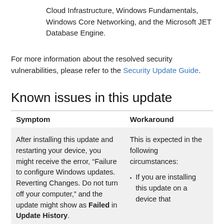Cloud Infrastructure, Windows Fundamentals, Windows Core Networking, and the Microsoft JET Database Engine.
For more information about the resolved security vulnerabilities, please refer to the Security Update Guide.
Known issues in this update
| Symptom | Workaround |
| --- | --- |
| After installing this update and restarting your device, you might receive the error, “Failure to configure Windows updates. Reverting Changes. Do not turn off your computer,” and the update might show as Failed in Update History. | This is expected in the following circumstances:
▪ If you are installing this update on a device that |
If you are installing this update on a device that